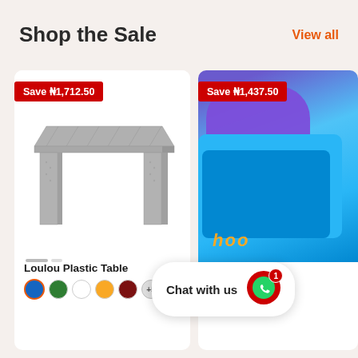Shop the Sale
View all
[Figure (photo): Gray plastic rattan-style outdoor table (Loulou Plastic Table) with sale badge 'Save ₦1,712.50']
[Figure (photo): Blue plastic children's toy/cart with sale badge 'Save ₦1,437.50', partially visible on right side]
Loulou Plastic Table
₦5,312.50
Chat with us